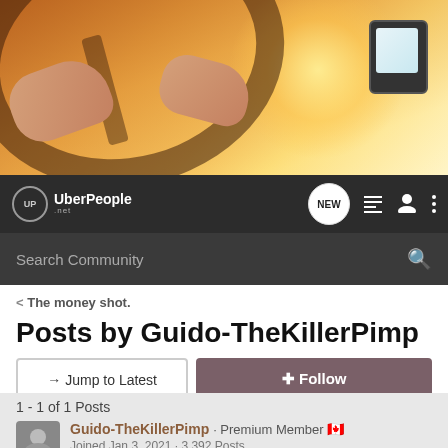[Figure (photo): Hero image of person driving a car, hands on steering wheel, warm golden sunlight from windshield, GPS device mounted on dashboard]
UberPeople.net navigation bar with logo, NEW button, menu icon, user icon, and more options
Search Community
< The money shot.
Posts by Guido-TheKillerPimp
→ Jump to Latest
+ Follow
1 - 1 of 1 Posts
Guido-TheKillerPimp · Premium Member 🇨🇦
Joined Jan 3, 2021 · 3,392 Posts